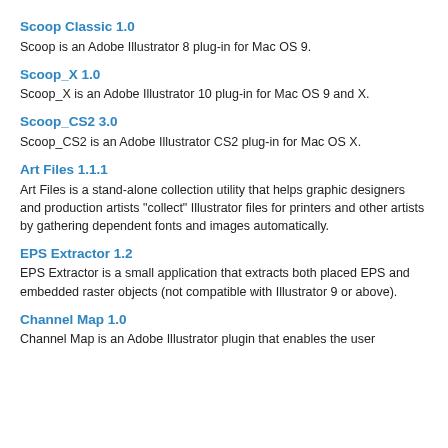Scoop Classic 1.0
Scoop is an Adobe Illustrator 8 plug-in for Mac OS 9.
Scoop_X 1.0
Scoop_X is an Adobe Illustrator 10 plug-in for Mac OS 9 and X.
Scoop_CS2 3.0
Scoop_CS2 is an Adobe Illustrator CS2 plug-in for Mac OS X.
Art Files 1.1.1
Art Files is a stand-alone collection utility that helps graphic designers and production artists "collect" Illustrator files for printers and other artists by gathering dependent fonts and images automatically.
EPS Extractor 1.2
EPS Extractor is a small application that extracts both placed EPS and embedded raster objects (not compatible with Illustrator 9 or above).
Channel Map 1.0
Channel Map is an Adobe Illustrator plugin that enables the user